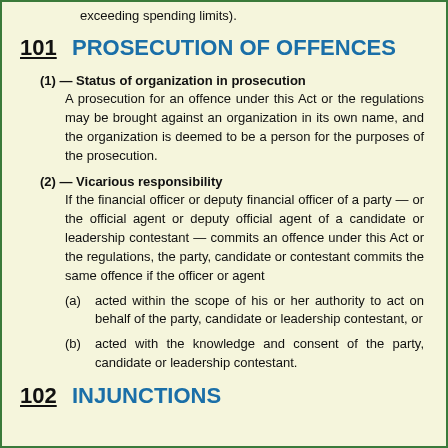exceeding spending limits).
101 PROSECUTION OF OFFENCES
(1) — Status of organization in prosecution
A prosecution for an offence under this Act or the regulations may be brought against an organization in its own name, and the organization is deemed to be a person for the purposes of the prosecution.
(2) — Vicarious responsibility
If the financial officer or deputy financial officer of a party — or the official agent or deputy official agent of a candidate or leadership contestant — commits an offence under this Act or the regulations, the party, candidate or contestant commits the same offence if the officer or agent
(a) acted within the scope of his or her authority to act on behalf of the party, candidate or leadership contestant, or
(b) acted with the knowledge and consent of the party, candidate or leadership contestant.
102 INJUNCTIONS